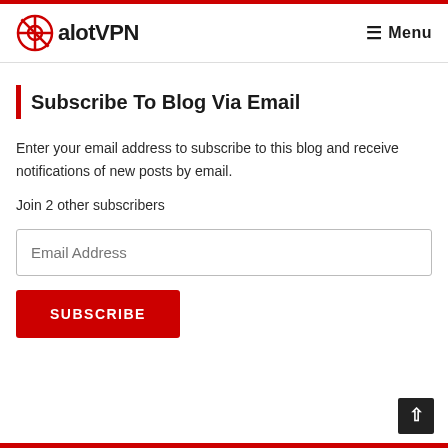alotVPN  Menu
Subscribe To Blog Via Email
Enter your email address to subscribe to this blog and receive notifications of new posts by email.
Join 2 other subscribers